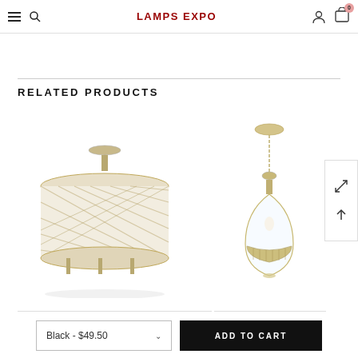LAMPS EXPO - Navigation header with hamburger, search, user, cart (0)
RELATED PRODUCTS
[Figure (photo): Semi-flush ceiling light with woven metallic drum shade in brushed nickel/gold finish with exposed bulbs]
[Figure (photo): Pendant light with teardrop clear glass shade and brushed gold/champagne metal accent band with chain]
Black - $49.50
ADD TO CART